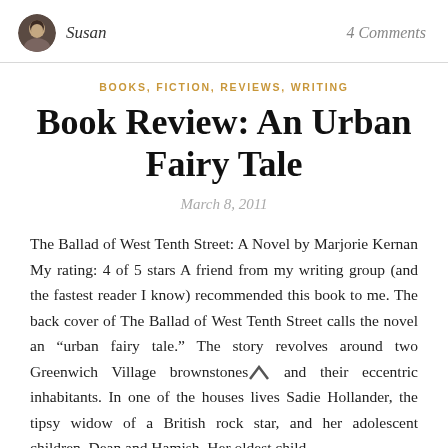Susan   4 Comments
BOOKS, FICTION, REVIEWS, WRITING
Book Review: An Urban Fairy Tale
March 8, 2011
The Ballad of West Tenth Street: A Novel by Marjorie Kernan My rating: 4 of 5 stars A friend from my writing group (and the fastest reader I know) recommended this book to me. The back cover of The Ballad of West Tenth Street calls the novel an “urban fairy tale.” The story revolves around two Greenwich Village brownstones and their eccentric inhabitants. In one of the houses lives Sadie Hollander, the tipsy widow of a British rock star, and her adolescent children, Dean and Hamish. Her oldest child